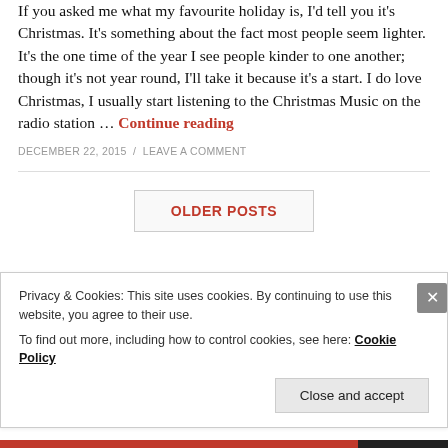If you asked me what my favourite holiday is, I'd tell you it's Christmas. It's something about the fact most people seem lighter. It's the one time of the year I see people kinder to one another; though it's not year round, I'll take it because it's a start. I do love Christmas, I usually start listening to the Christmas Music on the radio station … Continue reading
DECEMBER 22, 2015 / LEAVE A COMMENT
OLDER POSTS
Privacy & Cookies: This site uses cookies. By continuing to use this website, you agree to their use. To find out more, including how to control cookies, see here: Cookie Policy
Close and accept